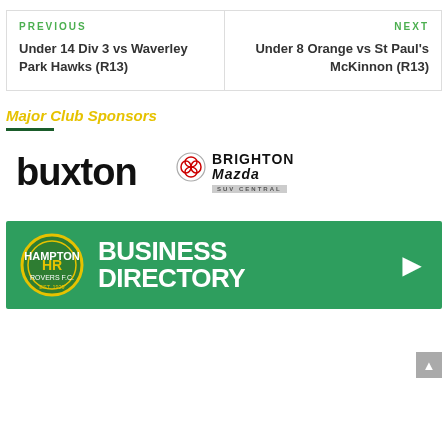PREVIOUS
Under 14 Div 3 vs Waverley Park Hawks (R13)
NEXT
Under 8 Orange vs St Paul's McKinnon (R13)
Major Club Sponsors
[Figure (logo): Buxton real estate logo in black bold text]
[Figure (logo): Brighton Mazda logo with Mazda symbol and SUV Central tagline]
[Figure (infographic): Hampton Rovers FC Business Directory banner with green background, HR badge, and white arrow]